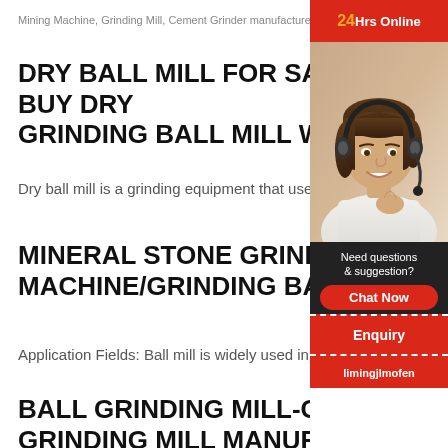Mining Machine, Grinding Mill, Cement Grinder manufacturer / su...
DRY BALL MILL FOR SALE | BUY DRY GRINDING BALL MILL WITH ...
Dry ball mill is a grinding equipment that uses dry
MINERAL STONE GRINDING MACHINE/GRINDING BALL MILL/P
Application Fields: Ball mill is widely used in ceme
BALL GRINDING MILL-CHINA BALL GRINDING MILL MANUFACTURER
[Figure (photo): Customer service representative with headset, smiling, with '24Hrs Online' banner, 'Need questions & suggestion?' text, 'Chat Now' button, 'Enquiry' section, and 'limingjlmofen' text]